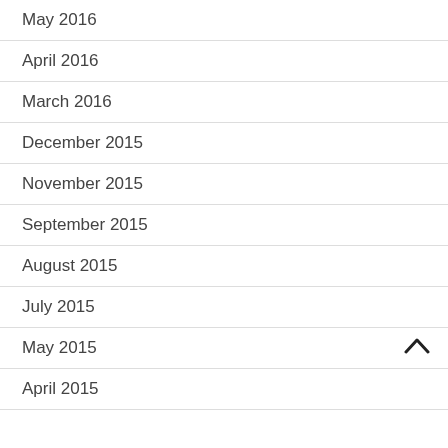May 2016
April 2016
March 2016
December 2015
November 2015
September 2015
August 2015
July 2015
May 2015
April 2015